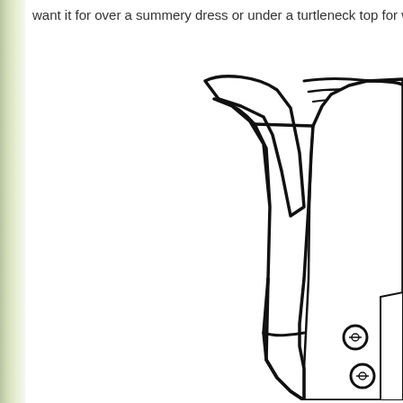want it for over a summery dress or under a turtleneck top for w
[Figure (illustration): Line drawing illustration of a women's vest/waistcoat with V-neck lapels, cap sleeves visible behind, and two buttons at the front bottom. The garment is shown from the front, cropped at right edge.]